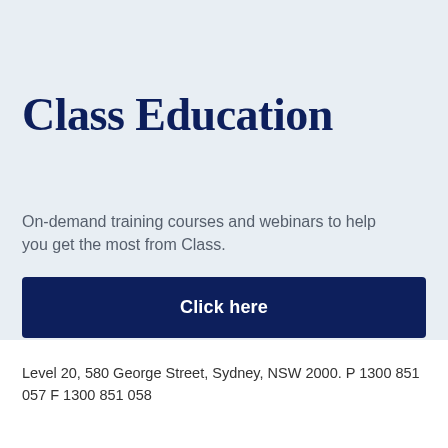Class Education
On-demand training courses and webinars to help you get the most from Class.
Click here
Level 20, 580 George Street, Sydney, NSW 2000. P 1300 851 057 F 1300 851 058